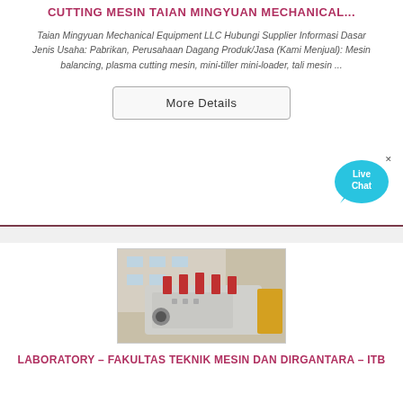CUTTING MESIN TAIAN MINGYUAN MECHANICAL...
Taian Mingyuan Mechanical Equipment LLC Hubungi Supplier Informasi Dasar Jenis Usaha: Pabrikan, Perusahaan Dagang Produk/Jasa (Kami Menjual): Mesin balancing, plasma cutting mesin, mini-tiller mini-loader, tali mesin ...
More Details
[Figure (photo): Industrial machinery/crusher machine photograph, white metal equipment with red components on top, photographed outdoors near a building]
LABORATORY – FAKULTAS TEKNIK MESIN DAN DIRGANTARA – ITB